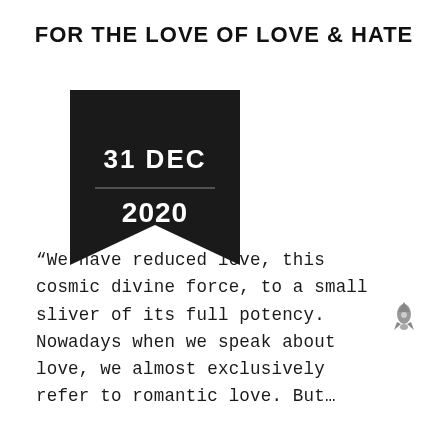FOR THE LOVE OF LOVE & HATE
[Figure (illustration): Black bookmark ribbon banner shape with white text showing date '31 DEC' and '2020', with a notched bottom point]
“We have reduced love, this cosmic divine force, to a small sliver of its full potency. Nowadays when we speak about love, we almost exclusively refer to romantic love. But…